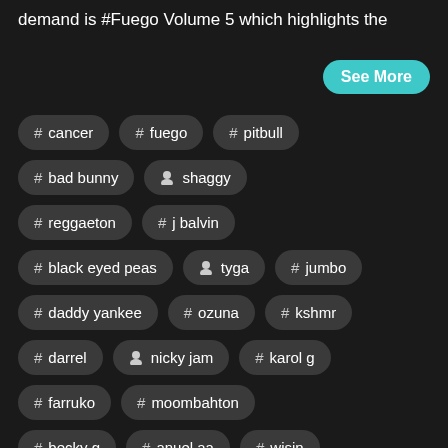demand is #Fuego Volume 5 which highlights the
See More
# cancer
# fuego
# pitbull
# bad bunny
[person icon] shaggy
# reggaeton
# j balvin
# black eyed peas
[person icon] tyga
# jumbo
# daddy yankee
# ozuna
# kshmr
# darrel
[person icon] nicky jam
# karol g
# farruko
# moombahton
# becky g
# anuel aa
# wisin